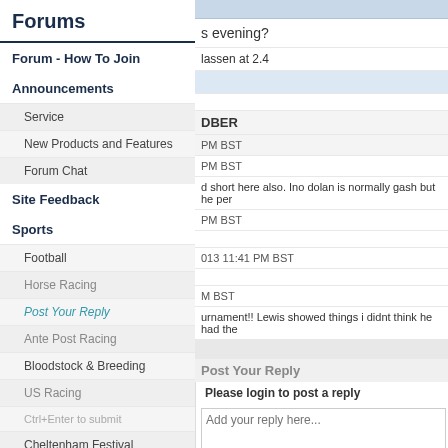Forums
Forum - How To Join
Announcements
Service
New Products and Features
Forum Chat
Site Feedback
Sports
Football
Horse Racing
Ante Post Racing
Bloodstock & Breeding
US Racing
Cheltenham Festival
s evening?
lassen at 2.4
DBER
PM BST
PM BST
d short here also. Ino dolan is normally gash but he per
PM BST
013 11:41 PM BST
M BST
urnament!! Lewis showed things i didnt think he had the
Post Your Reply
Please login to post a reply
Add your reply here...
Ctrl+Enter to submit